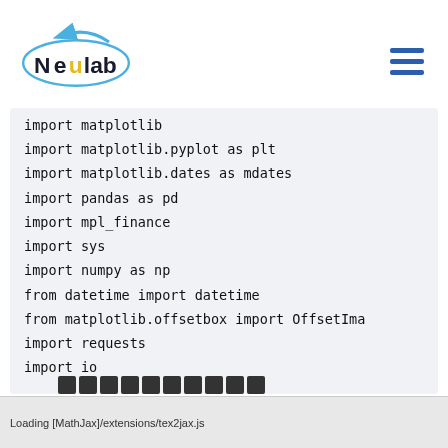Neulab
import matplotlib
import matplotlib.pyplot as plt
import matplotlib.dates as mdates
import pandas as pd
import mpl_finance
import sys
import numpy as np
from datetime import datetime
from matplotlib.offsetbox import OffsetImage
import requests
import io
Loading [MathJax]/extensions/tex2jax.js